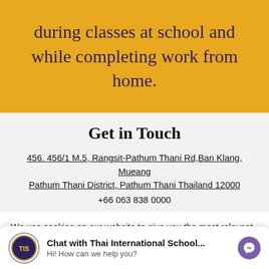during classes at school and while completing work from home.
Get in Touch
456. 456/1 M.5, Rangsit-Pathum Thani Rd, Ban Klang, Mueang Pathum Thani District, Pathum Thani Thailand 12000
+66 063 838 0000
We use cookies on our website to give you the most relevant experience by remembering your preferences and repeat visits. By clicking "Accept", you consent to the use of ALL the cookies.
Do not sell my personal information
Chat with Thai International School... Hi! How can we help you?